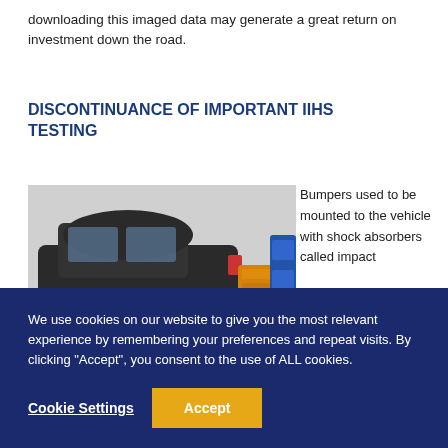downloading this imaged data may generate a great return on investment down the road.
DISCONTINUANCE OF IMPORTANT IIHS TESTING
[Figure (photo): A car bumper crash test showing a dark sedan vehicle with its rear end colliding with a yellow/orange foam barrier block on a grey surface, with a blue test fixture on the right.]
Bumpers used to be mounted to the vehicle with shock absorbers called impact
We use cookies on our website to give you the most relevant experience by remembering your preferences and repeat visits. By clicking "Accept", you consent to the use of ALL cookies.
Cookie Settings
Accept